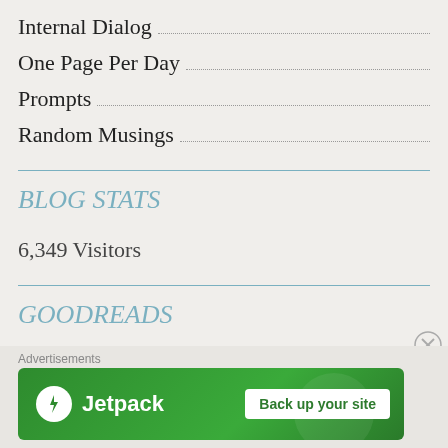Internal Dialog
One Page Per Day
Prompts
Random Musings
BLOG STATS
6,349 Visitors
GOODREADS
Advertisements
[Figure (other): Jetpack advertisement banner with logo and 'Back up your site' button on green background]